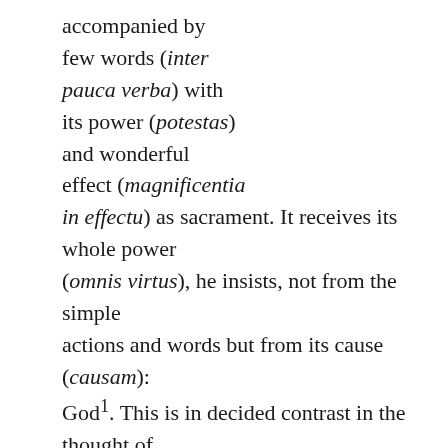accompanied by few words (inter pauca verba) with its power (potestas) and wonderful effect (magnificentia in effectu) as sacrament. It receives its whole power (omnis virtus), he insists, not from the simple actions and words but from its cause (causam): God¹. This is in decided contrast in the thought of Tertullian to the pagan Roman emphasis in worship on solemn ceremonies and mysterious rites (sollemnia uel arcana). Pagan cult gains credence and prestige by its ornate ceremonial (pompa) and its pretentious display (apparatus)². Christianity on the other hand with its simple and